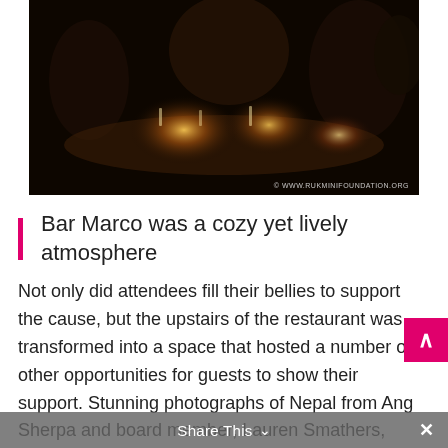[Figure (photo): Dark restaurant interior with people seated at a long table illuminated by candlelight. Watermark reads © WWW.RUKMINIFOUNDATION.ORG]
Bar Marco was a cozy yet lively atmosphere
Not only did attendees fill their bellies to support the cause, but the upstairs of the restaurant was transformed into a space that hosted a number of other opportunities for guests to show their support. Stunning photographs of Nepal from Ang Sherpa and board member, Lauren Smathers, lined the
Share This